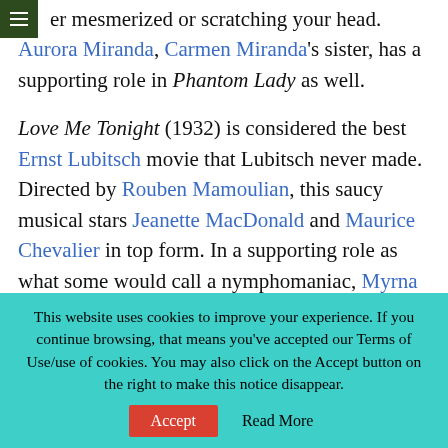er mesmerized or scratching your head. Aurora Miranda, Carmen Miranda's sister, has a supporting role in Phantom Lady as well.

Love Me Tonight (1932) is considered the best Ernst Lubitsch movie that Lubitsch never made. Directed by Rouben Mamoulian, this saucy musical stars Jeanette MacDonald and Maurice Chevalier in top form. In a supporting role as what some would call a nymphomaniac, Myrna Loy
This website uses cookies to improve your experience. If you continue browsing, that means you've accepted our Terms of Use/use of cookies. You may also click on the Accept button on the right to make this notice disappear.